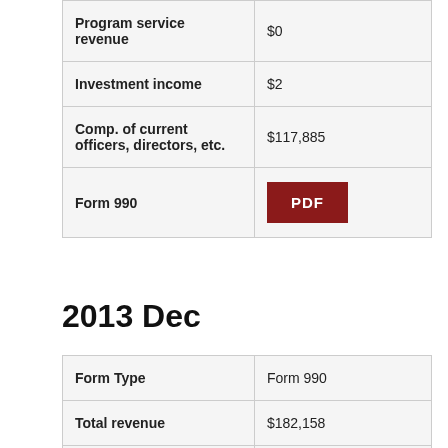|  |  |
| --- | --- |
| Program service revenue | $0 |
| Investment income | $2 |
| Comp. of current officers, directors, etc. | $117,885 |
| Form 990 | PDF |
2013 Dec
|  |  |
| --- | --- |
| Form Type | Form 990 |
| Total revenue | $182,158 |
| Total functional expenses | $293,801 |